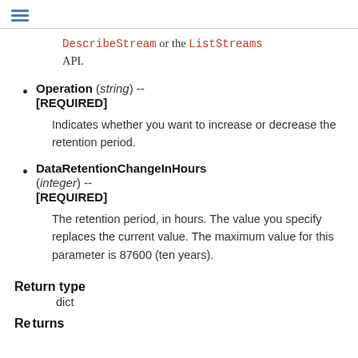DescribeStream or the ListStreams API.
Operation (string) -- [REQUIRED]
Indicates whether you want to increase or decrease the retention period.
DataRetentionChangeInHours (integer) -- [REQUIRED]
The retention period, in hours. The value you specify replaces the current value. The maximum value for this parameter is 87600 (ten years).
Return type
dict
Returns